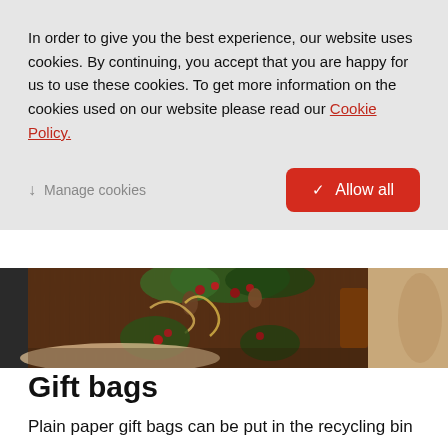In order to give you the best experience, our website uses cookies. By continuing, you accept that you are happy for us to use these cookies. To get more information on the cookies used on our website please read our Cookie Policy.
Manage cookies
Allow all
[Figure (photo): Decorative gift bag with floral wreath design featuring berries, pine cones, and greenery on a dark wood background, placed on a table with a small potted plant beside it.]
Gift bags
Plain paper gift bags can be put in the recycling bin